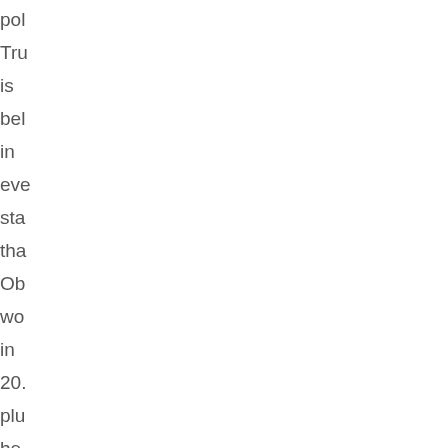pol Tru is bel in eve sta tha Ob wo in 20. plu he is bel als